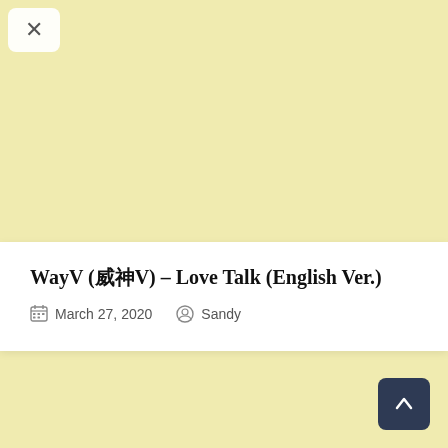[Figure (photo): Group photo of WayV members dressed in white suits/outfits against a warm beige/brown background, with decorative white geometric lines and a circle overlaid on the image.]
WayV (威神V) – Love Talk (English Ver.)
March 27, 2020   Sandy